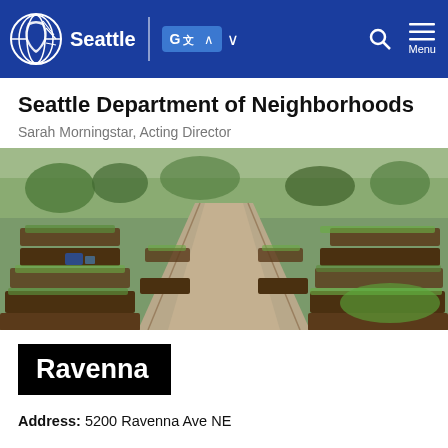Seattle | [Translate] [Search] [Menu]
Seattle Department of Neighborhoods
Sarah Morningstar, Acting Director
[Figure (photo): Aerial view of a community garden with raised planting beds, a gravel path running through the center, and lush green plants on a hillside.]
Ravenna
Address: 5200 Ravenna Ave NE